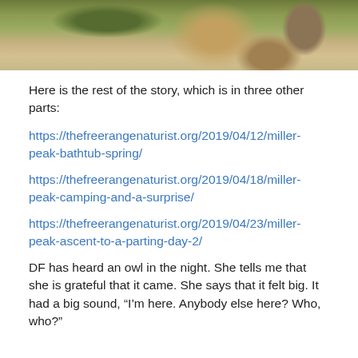[Figure (photo): Outdoor nature scene with vegetation and a person, partially visible, sitting on a path surrounded by shrubs and trees.]
Here is the rest of the story, which is in three other parts:
https://thefreerangenaturist.org/2019/04/12/miller-peak-bathtub-spring/
https://thefreerangenaturist.org/2019/04/18/miller-peak-camping-and-a-surprise/
https://thefreerangenaturist.org/2019/04/23/miller-peak-ascent-to-a-parting-day-2/
DF has heard an owl in the night. She tells me that she is grateful that it came. She says that it felt big. It had a big sound, “I’m here. Anybody else here? Who, who?”